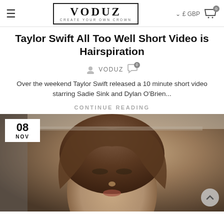VODUZ CREATE YOUR OWN CROWN | £ GBP | Cart 0
Taylor Swift All Too Well Short Video is Hairspiration
VODUZ
Over the weekend Taylor Swift released a 10 minute short video starring Sadie Sink and Dylan O'Brien...
CONTINUE READING
[Figure (photo): Woman with dark hair styled up, close-up portrait with glamorous makeup, warm indoor background with lights. Date badge shows 08 NOV in top left corner.]